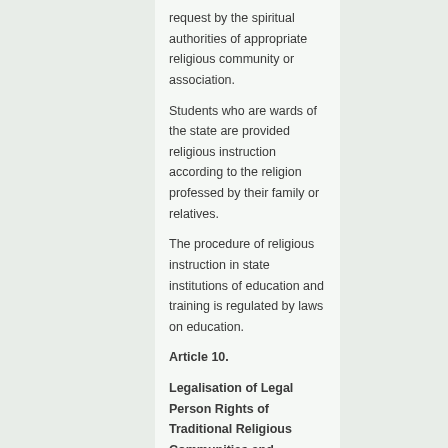request by the spiritual authorities of appropriate religious community or association.
Students who are wards of the state are provided religious instruction according to the religion professed by their family or relatives.
The procedure of religious instruction in state institutions of education and training is regulated by laws on education.
Article 10.
Legalisation of Legal Person Rights of Traditional Religious Communities and Associations